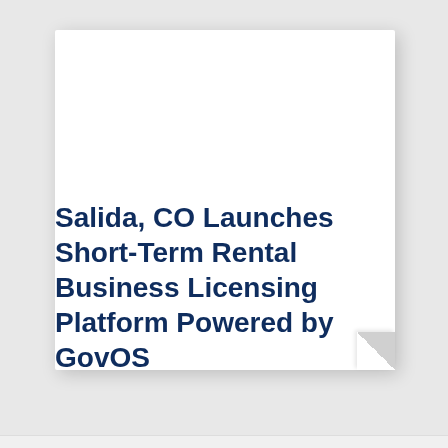Salida, CO Launches Short-Term Rental Business Licensing Platform Powered by GovOS